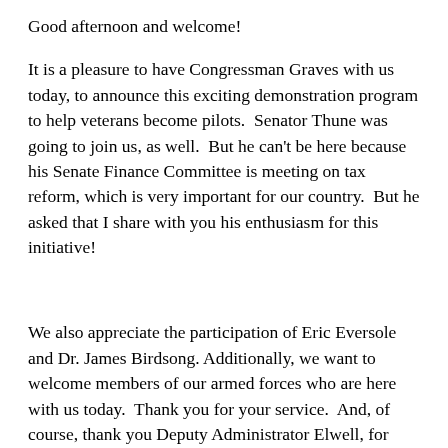Good afternoon and welcome!
It is a pleasure to have Congressman Graves with us today, to announce this exciting demonstration program to help veterans become pilots.  Senator Thune was going to join us, as well.  But he can't be here because his Senate Finance Committee is meeting on tax reform, which is very important for our country.  But he asked that I share with you his enthusiasm for this initiative!
We also appreciate the participation of Eric Eversole and Dr. James Birdsong. Additionally, we want to welcome members of our armed forces who are here with us today.  Thank you for your service.  And, of course, thank you Deputy Administrator Elwell, for being our emcee.  And thanks also to Senior